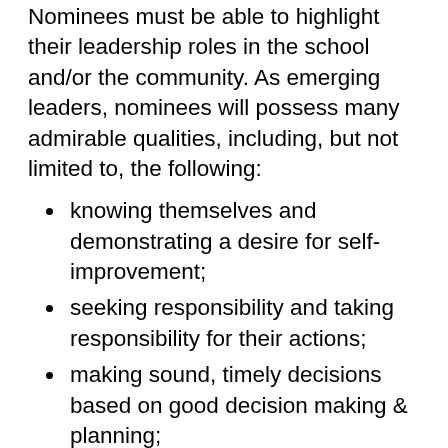Nominees must be able to highlight their leadership roles in the school and/or the community. As emerging leaders, nominees will possess many admirable qualities, including, but not limited to, the following:
knowing themselves and demonstrating a desire for self-improvement;
seeking responsibility and taking responsibility for their actions;
making sound, timely decisions based on good decision making & planning;
acting as a good role model
helping others to understand what needs to be done.